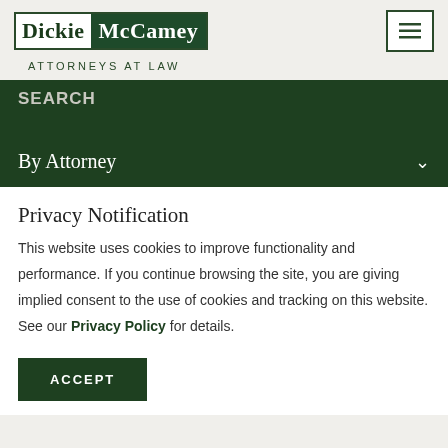Dickie McCamey | ATTORNEYS AT LAW
SEARCH
By Attorney
Privacy Notification
This website uses cookies to improve functionality and performance. If you continue browsing the site, you are giving implied consent to the use of cookies and tracking on this website. See our Privacy Policy for details.
ACCEPT